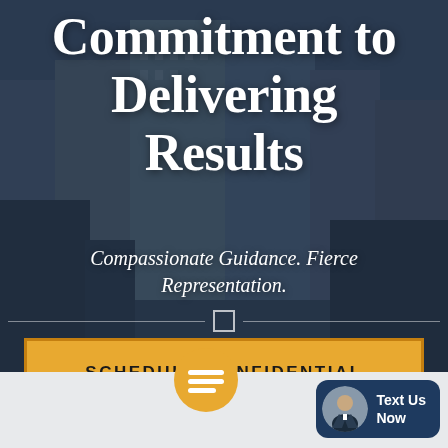Commitment to Delivering Results
Compassionate Guidance. Fierce Representation.
SCHEDULE CONFIDENTIAL CONSULTATION
[Figure (illustration): Chat icon over golden orange circle background]
[Figure (photo): Person in suit avatar with 'Text Us Now' badge on dark navy background]